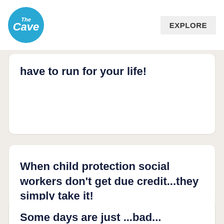The Cave | EXPLORE
have to run for your life!
When child protection social workers don't get due credit...they simply take it!
Some days are just ...bad...